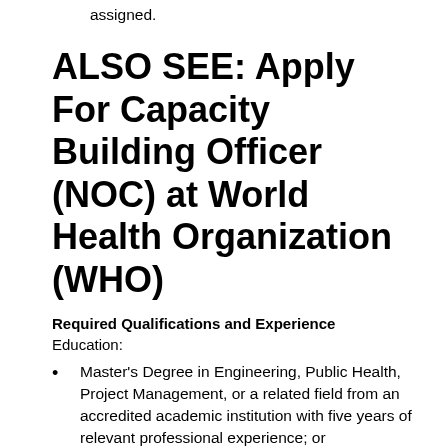Perform such other duties as may be assigned.
ALSO SEE: Apply For Capacity Building Officer (NOC) at World Health Organization (WHO)
Required Qualifications and Experience
Education:
Master's Degree in Engineering, Public Health, Project Management, or a related field from an accredited academic institution with five years of relevant professional experience; or
University Degree in the above fields with